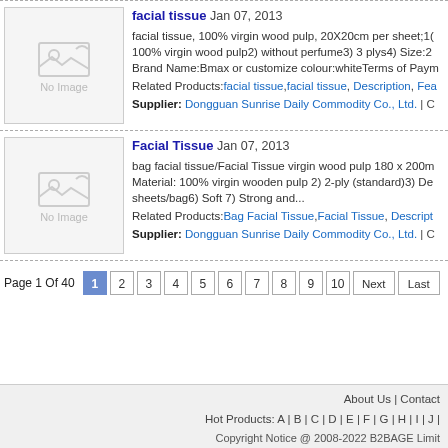[Figure (photo): No Image placeholder for facial tissue product 1]
facial tissue Jan 07, 2013
facial tissue, 100% virgin wood pulp, 20X20cm per sheet;1) 100% virgin wood pulp2) without perfume3) 3 plys4) Size:2 Brand Name:Bmax or customize colour:whiteTerms of Payment Related Products:facial tissue,facial tissue, Description, Fea Supplier: Dongguan Sunrise Daily Commodity Co., Ltd. | C
[Figure (photo): No Image placeholder for Facial Tissue product 2]
Facial Tissue Jan 07, 2013
bag facial tissue/Facial Tissue virgin wood pulp 180 x 200m Material: 100% virgin wooden pulp 2) 2-ply (standard)3) De sheets/bag6) Soft 7) Strong and...
Related Products:Bag Facial Tissue,Facial Tissue, Descript Supplier: Dongguan Sunrise Daily Commodity Co., Ltd. | C
Page 1 Of 40  1 2 3 4 5 6 7 8 9 10 Next Last
About Us | Contact
Hot Products: A | B | C | D | E | F | G | H | I | J |
Copyright Notice @ 2008-2022 B2BAGE Limit